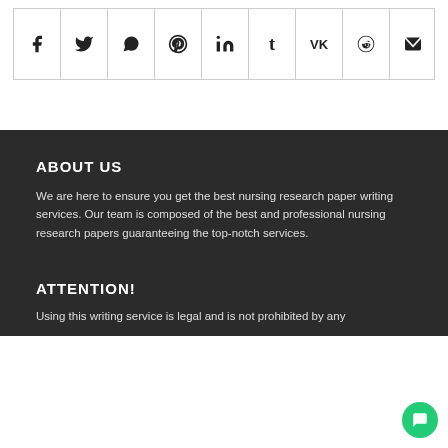[Figure (other): Social media sharing icons bar with Facebook, Twitter, WhatsApp, Pinterest, LinkedIn, Tumblr, VK, Reddit, and Email icons in a bordered row]
ABOUT US
We are here to ensure you get the best nursing research paper writing services. Our team is composed of the best and professional nursing research papers guaranteeing the top-notch services.
ATTENTION!
Using this writing service is legal and is not prohibited by any